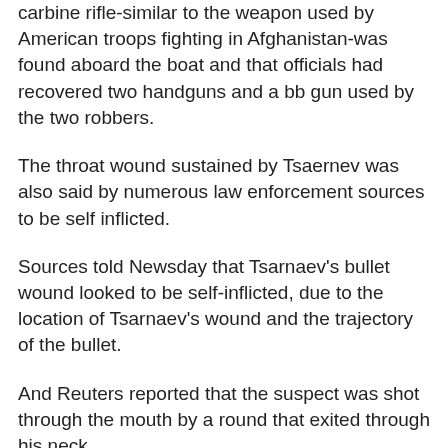carbine rifle-similar to the weapon used by American troops fighting in Afghanistan-was found aboard the boat and that officials had recovered two handguns and a bb gun used by the two robbers.
The throat wound sustained by Tsaernev was also said by numerous law enforcement sources to be self inflicted.
Sources told Newsday that Tsarnaev's bullet wound looked to be self-inflicted, due to the location of Tsarnaev's wound and the trajectory of the bullet.
And Reuters reported that the suspect was shot through the mouth by a round that exited through his neck.
Dozens of bullet holes were seen on the exterior of the boat in photos taken shortly after the final standoff in the Watertown backyard.
The officials told the AP that an investigation...